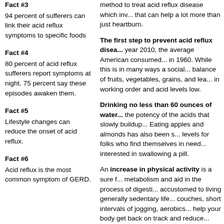method to treat acid reflux disease which inv... that can help a lot more than just heartburn.
Fact #3
94 percent of sufferers can link their acid reflux symptoms to specific foods
Fact #4
80 percent of acid reflux sufferers report symptoms at night. 75 percent say these episodes awaken them.
Fact #5
Lifestyle changes can reduce the onset of acid reflux.
Fact #6
Acid reflux is the most common symptom of GERD.
The first step to prevent acid reflux disea... year 2010, the average American consumed... in 1960. While this is in many ways a social... balance of fruits, vegetables, grains, and lea... in working order and acid levels low.
Drinking no less than 60 ounces of water... the potency of the acids that slowly buildup... Eating apples and almonds has also been s... levels for folks who find themselves in need... interested in swallowing a pill.
An increase in physical activity is a sure f... metabolism and aid in the process of digesti... accustomed to living generally sedentary life... couches, short intervals of jogging, aerobics... help your body get back on track and reduce... acids. None of the natural ways to treat acid... as popping a pill into your mouth, but they a... and much better for your long-term health.